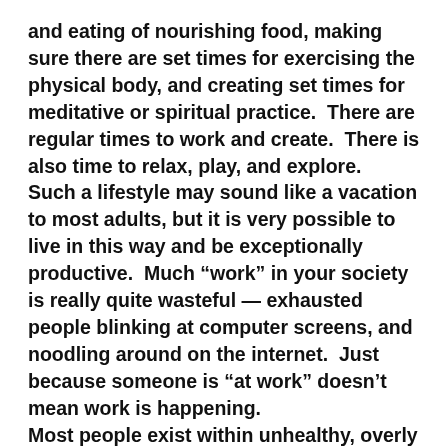and eating of nourishing food, making sure there are set times for exercising the physical body, and creating set times for meditative or spiritual practice.  There are regular times to work and create.  There is also time to relax, play, and explore.
Such a lifestyle may sound like a vacation to most adults, but it is very possible to live in this way and be exceptionally productive.  Much “work” in your society is really quite wasteful — exhausted people blinking at computer screens, and noodling around on the internet.  Just because someone is “at work” doesn’t mean work is happening.
Most people exist within unhealthy, overly rigid structures.  And because they are forced into rigid structures, as soon as they are given any free space,